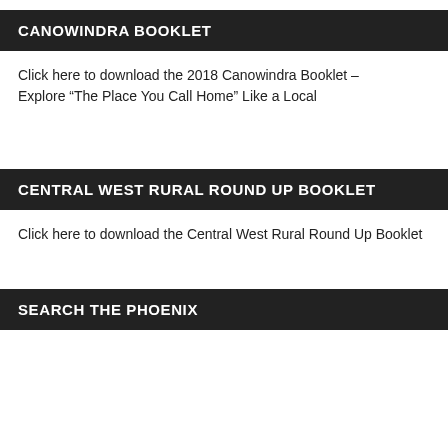CANOWINDRA BOOKLET
Click here to download the 2018 Canowindra Booklet – Explore “The Place You Call Home” Like a Local
CENTRAL WEST RURAL ROUND UP BOOKLET
Click here to download the Central West Rural Round Up Booklet
SEARCH THE PHOENIX